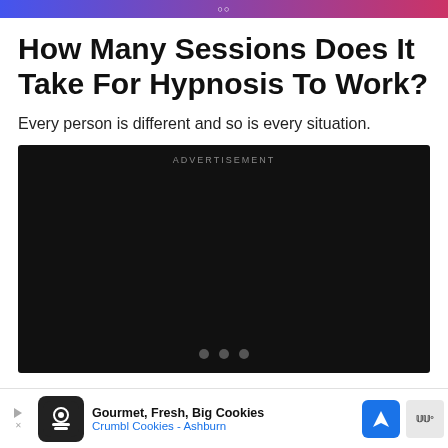How Many Sessions Does It Take For Hypnosis To Work?
Every person is different and so is every situation.
[Figure (other): Dark advertisement placeholder box with 'ADVERTISEMENT' label at top and three navigation dots at the bottom]
Gourmet, Fresh, Big Cookies Crumbl Cookies - Ashburn